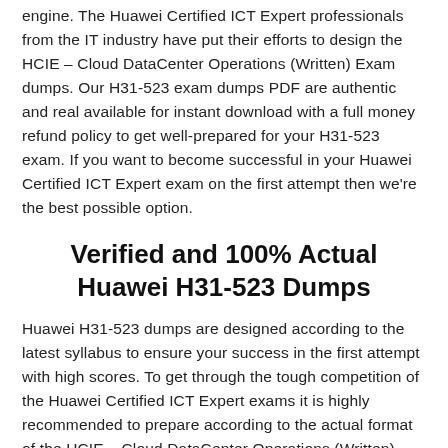engine. The Huawei Certified ICT Expert professionals from the IT industry have put their efforts to design the HCIE – Cloud DataCenter Operations (Written) Exam dumps. Our H31-523 exam dumps PDF are authentic and real available for instant download with a full money refund policy to get well-prepared for your H31-523 exam. If you want to become successful in your Huawei Certified ICT Expert exam on the first attempt then we're the best possible option.
Verified and 100% Actual Huawei H31-523 Dumps
Huawei H31-523 dumps are designed according to the latest syllabus to ensure your success in the first attempt with high scores. To get through the tough competition of the Huawei Certified ICT Expert exams it is highly recommended to prepare according to the actual format of the HCIE – Cloud DataCenter Operations (Written) Exam. This is why DumpsArchive offers the 100% actual Huawei H31-523 dumps to help you prepare for the